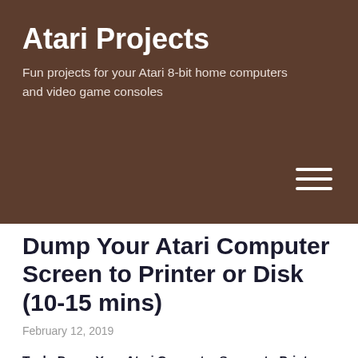Atari Projects
Fun projects for your Atari 8-bit home computers and video game consoles
Dump Your Atari Computer Screen to Printer or Disk (10-15 mins)
February 12, 2019
Task: Dump Your Atari Computer Screen to Printer or Disk